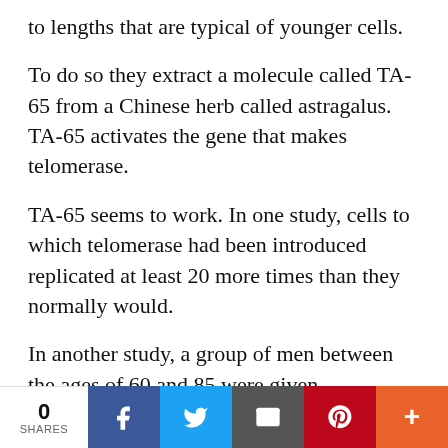to lengths that are typical of younger cells.
To do so they extract a molecule called TA-65 from a Chinese herb called astragalus. TA-65 activates the gene that makes telomerase.
TA-65 seems to work. In one study, cells to which telomerase had been introduced replicated at least 20 more times than they normally would.
In another study, a group of men between the ages of 60 and 85 were given concentrated extracts of telomerase. After six months the
0 SHARES | Facebook | Twitter | Email | Pinterest | More